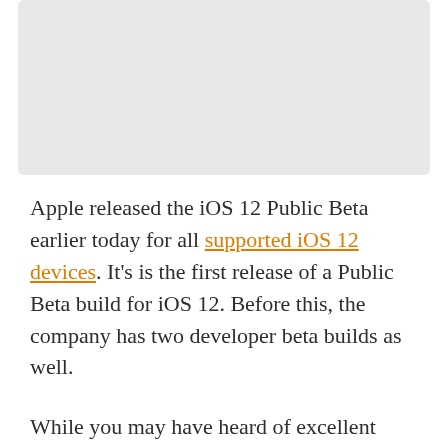[Figure (other): Gray placeholder image/banner area at top of page]
Apple released the iOS 12 Public Beta earlier today for all supported iOS 12 devices. It's is the first release of a Public Beta build for iOS 12. Before this, the company has two developer beta builds as well.
While you may have heard of excellent performance and stability on the iOS 12 Developer Beta builds, there are still many